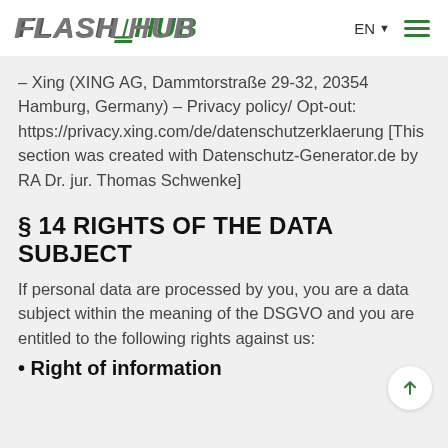FLASHHUB — EN
– Xing (XING AG, Dammtorstraße 29-32, 20354 Hamburg, Germany) – Privacy policy/ Opt-out: https://privacy.xing.com/de/datenschutzerklaerung [This section was created with Datenschutz-Generator.de by RA Dr. jur. Thomas Schwenke]
§ 14 RIGHTS OF THE DATA SUBJECT
If personal data are processed by you, you are a data subject within the meaning of the DSGVO and you are entitled to the following rights against us:
• Right of information